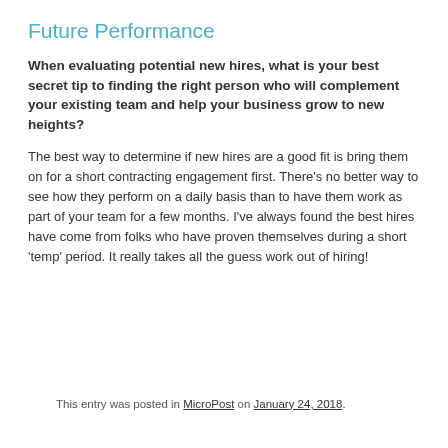Future Performance
When evaluating potential new hires, what is your best secret tip to finding the right person who will complement your existing team and help your business grow to new heights?
The best way to determine if new hires are a good fit is bring them on for a short contracting engagement first. There’s no better way to see how they perform on a daily basis than to have them work as part of your team for a few months. I’ve always found the best hires have come from folks who have proven themselves during a short ‘temp’ period. It really takes all the guess work out of hiring!
This entry was posted in MicroPost on January 24, 2018.